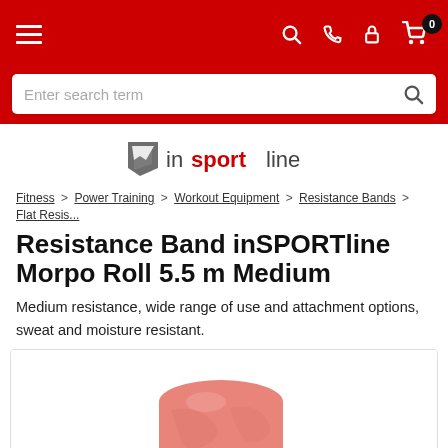[Figure (screenshot): Red navigation bar with hamburger menu icon on left and search, phone, lock, cart icons on right. Cart shows badge with 0.]
[Figure (screenshot): Search bar with placeholder text 'Enter search term' and search magnifier icon on right, on red background.]
[Figure (logo): inSPORTline logo: stylized arrow icon in grey, 'in' in dark grey, 'sport' in red bold, 'line' in dark grey.]
Fitness > Power Training > Workout Equipment > Resistance Bands > Flat Resis...
Resistance Band inSPORTline Morpo Roll 5.5 m Medium
Medium resistance, wide range of use and attachment options, sweat and moisture resistant.
[Figure (photo): Pink/salmon colored resistance band roll, partially unrolled, photographed on white background.]